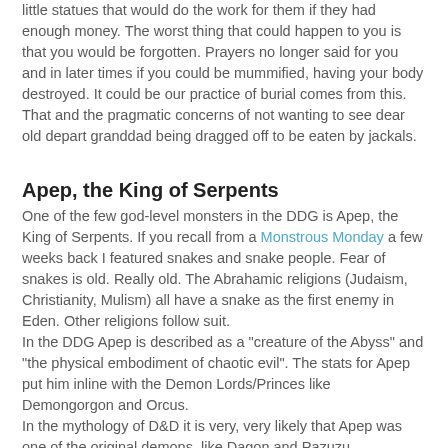little statues that would do the work for them if they had enough money.  The worst thing that could happen to you is that you would be forgotten. Prayers no longer said for you and in later times if you could be mummified, having your body destroyed.  It could be our practice of burial comes from this. That and the pragmatic concerns of not wanting to see dear old depart granddad being dragged off to be eaten by jackals.
Apep, the King of Serpents
One of the few god-level monsters in the DDG is Apep, the King of Serpents.  If you recall from a Monstrous Monday a few weeks back I featured snakes and snake people.  Fear of snakes is old. Really old. The Abrahamic religions (Judaism, Christianity, Mulism) all have a snake as the first enemy in Eden.  Other religions follow suit.
In the DDG Apep is described as a "creature of the Abyss" and "the physical embodiment of chaotic evil".  The stats for Apep put him inline with the Demon Lords/Princes like Demongorgon and Orcus.
In the mythology of D&D it is very, very likely that Apep was one of the original demons, like Dagon and Pazuzu.